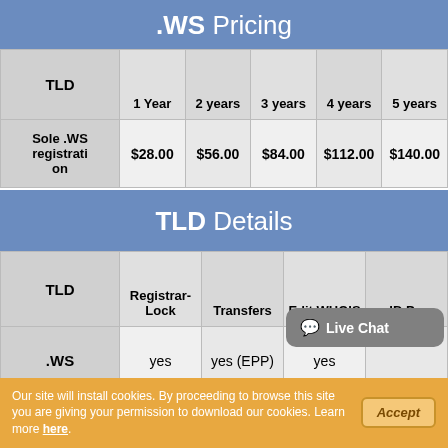.WS Pricing
| TLD | 1 Year | 2 years | 3 years | 4 years | 5 years |
| --- | --- | --- | --- | --- | --- |
| Sole .WS registration | $28.00 | $56.00 | $84.00 | $112.00 | $140.00 |
TLD Details
| TLD | Registrar-Lock | Transfers | Edit WHOIS | ID P... |
| --- | --- | --- | --- | --- |
| .WS | yes | yes (EPP) | yes |  |
Our site will install cookies. By proceeding to browse this site you are giving your permission to download our cookies. Learn more here.